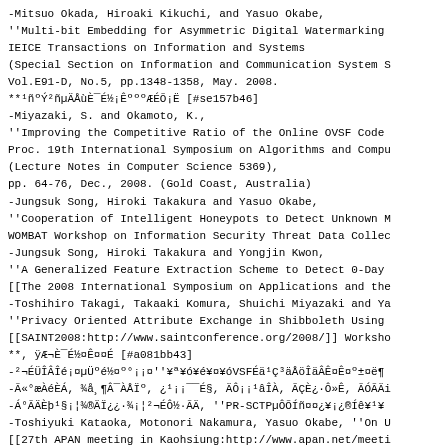-Mitsuo Okada, Hiroaki Kikuchi, and Yasuo Okabe, ''Multi-bit Embedding for Asymmetric Digital Watermarking IEICE Transactions on Information and Systems (Special Section on Information and Communication System S Vol.E91-D, No.5, pp.1348-1358, May. 2008. **¹ñºÝ²ñµÄÅùÈ¯É½¡ÊºººÆÉÕ¡Ë [#se157b46]
-Miyazaki, S. and Okamoto, K., ''Improving the Competitive Ratio of the Online OVSF Code Proc. 19th International Symposium on Algorithms and Compu (Lecture Notes in Computer Science 5369), pp. 64-76, Dec., 2008. (Gold Coast, Australia)
-Jungsuk Song, Hiroki Takakura and Yasuo Okabe, ''Cooperation of Intelligent Honeypots to Detect Unknown M WOMBAT Workshop on Information Security Threat Data Collec
-Jungsuk Song, Hiroki Takakura and Yongjin Kwon, ''A Generalized Feature Extraction Scheme to Detect 0-Day [[The 2008 International Symposium on Applications and the
-Toshihiro Takagi, Takaaki Komura, Shuichi Miyazaki and Ya ''Privacy Oriented Attribute Exchange in Shibboleth Using [[SAINT2008:http://www.saintconference.org/2008/]] Worksho **, ÿÆ¬È¯É½¤Ê¤¤É [#a081bb43]
-²¬ÉÜÎÂÎé¡¤µÜºé½¤º°¡¡¤''¥ª¥ó¥é¥¤¥óVSFÉä¹Ç³äÅöÎäÂê¤Ê¤º±¤ë¶
-Ã«°æÀéÈÁ, ¾å¸¶Â¯ÀÅÏº,  ¿¹¡¡¯¯É§, ÄÔ¡¡¹âÎÀ, ÃÇÈ¿·Ô»Ê, ÃÓÃÄi
-Á°ÃÄÈþ¹§¡¦¾®ÄÏ¿¿·¾¡¦²¬ÉÔ½·ÃÄ, ''PR-SCTPµÔÕÍñ¤¤¿¡¿®Íê¥¹¥
-Toshiyuki Kataoka, Motonori Nakamura, Yasuo Okabe, ''On U [[27th APAN meeting in Kaohsiung:http://www.apan.net/meeti
-²¬ÉÔ½·ÃÄ, ''UPKIÁˆÂÎÊô¹ô'', ¹ñÎ©¾ôÊó³Ø¸¦µæ½è[[UPKI¥·¥ó¥Ý¥
-Kenji Ohira, ''Source Address Dependent Site External Rou
-Jungsuk Song, Hiroki Takakura, Yasuo Okabe, ''A Automatic Intrusion Detection System from...